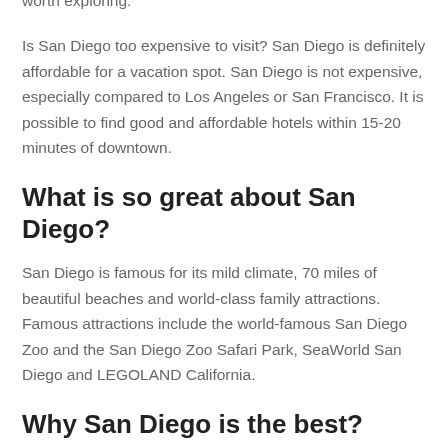visit in this city and there are also some hidden rocks worth exploring.
Is San Diego too expensive to visit? San Diego is definitely affordable for a vacation spot. San Diego is not expensive, especially compared to Los Angeles or San Francisco. It is possible to find good and affordable hotels within 15-20 minutes of downtown.
What is so great about San Diego?
San Diego is famous for its mild climate, 70 miles of beautiful beaches and world-class family attractions. Famous attractions include the world-famous San Diego Zoo and the San Diego Zoo Safari Park, SeaWorld San Diego and LEGOLAND California.
Why San Diego is the best?